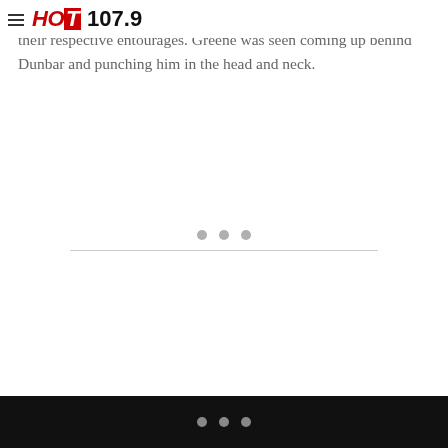HOT 107.9
altercation escalated and punches were thrown by both parties and their respective entourages. Greene was seen coming up behind Dunbar and punching him in the head and neck.
[Figure (other): Three grey dots centered horizontally above a horizontal divider line, indicating a content separator or loading indicator]
Three grey dots on black background footer bar